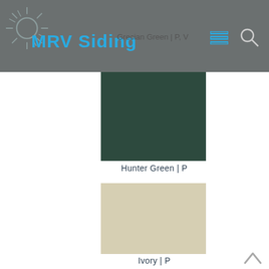MRV Siding
Grecian Green | P, V
[Figure (illustration): Hunter Green color swatch — a solid dark green rectangle]
Hunter Green | P
[Figure (illustration): Ivory color swatch — a solid light beige/tan rectangle]
Ivory | P